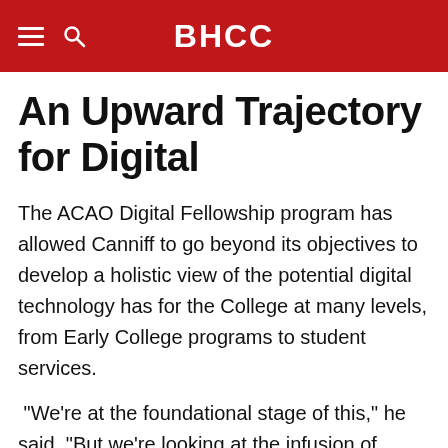BHCC
An Upward Trajectory for Digital
The ACAO Digital Fellowship program has allowed Canniff to go beyond its objectives to develop a holistic view of the potential digital technology has for the College at many levels, from Early College programs to student services.
“We’re at the foundational stage of this,” he said. “But we’re looking at the infusion of